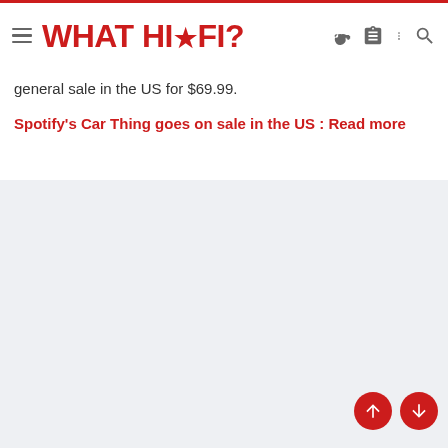WHAT HI-FI?
general sale in the US for $69.99.
Spotify's Car Thing goes on sale in the US : Read more